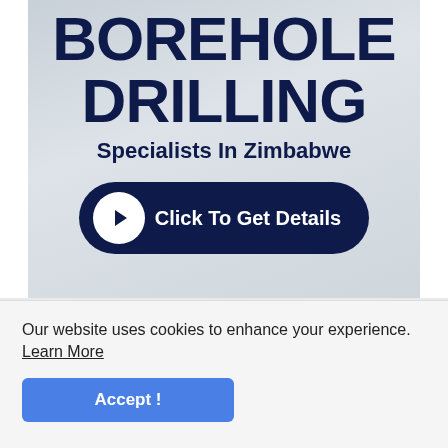[Figure (illustration): Advertisement banner for Borehole Drilling Specialists In Zimbabwe with a dark navy blue 'Click To Get Details' call-to-action button with arrow icon, on a light grey/silver textured background.]
Our website uses cookies to enhance your experience. Learn More
Accept !